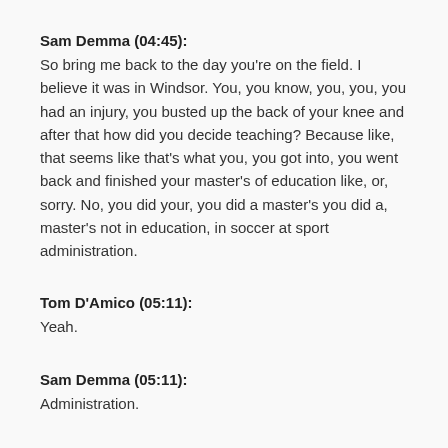Sam Demma (04:45):
So bring me back to the day you're on the field. I believe it was in Windsor. You, you know, you, you, you had an injury, you busted up the back of your knee and after that how did you decide teaching? Because like, that seems like that's what you, you got into, you went back and finished your master's of education like, or, sorry. No, you did your, you did a master's you did a, master's not in education, in soccer at sport administration.
Tom D'Amico (05:11):
Yeah.
Sam Demma (05:11):
Administration.